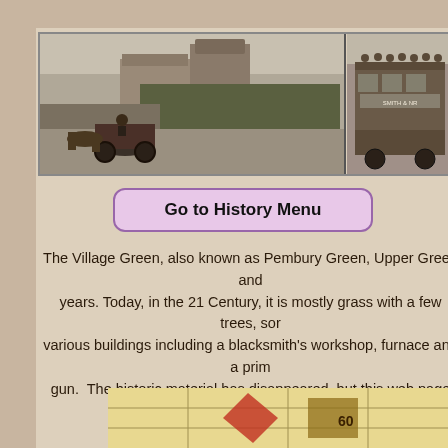[Figure (photo): Black and white historical photo strip showing two images: left image shows a horse-drawn cart on a village road with buildings in background; right image shows people on top of an early motor bus.]
Go to History Menu
The Village Green, also known as Pembury Green, Upper Green and years. Today, in the 21 Century, it is mostly grass with a few trees, sor various buildings including a blacksmith's workshop, furnace and a prim gun. The historic material has disappeared, but this web page hopes t and a
[Figure (map): Partial view of an old map or illustration at the bottom of the page, showing colorful map elements in yellow, red and brown tones.]